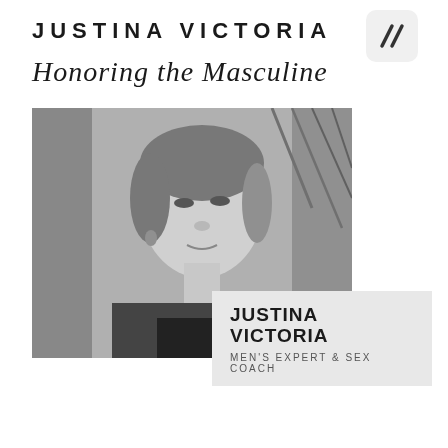JUSTINA VICTORIA
[Figure (logo): Double slash logo mark in a rounded square]
Honoring the Masculine
[Figure (photo): Black and white portrait photo of a woman with short hair against a leafy background]
JUSTINA VICTORIA
MEN'S EXPERT & SEX COACH